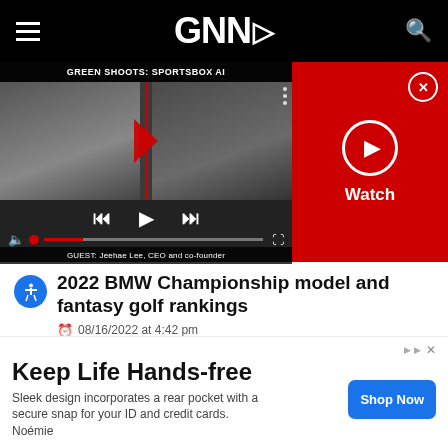GNN (logo navigation bar with hamburger menu and search icon)
[Figure (screenshot): Video player showing GREEN SHOOTS: SPORTSBOX AI with guest Jeehae Lee, CEO and co-founder. Player has playback controls, mute icon, progress bar with red indicator, and fullscreen icon. Beside it a red panel with a circular play button and Watch label, and an X close button.]
2022 BMW Championship model and fantasy golf rankings
08/16/2022 at 4:42 pm
Keep Life Hands-free
Sleek design incorporates a rear pocket with a secure snap for your ID and credit cards. Noémie
Shop Now